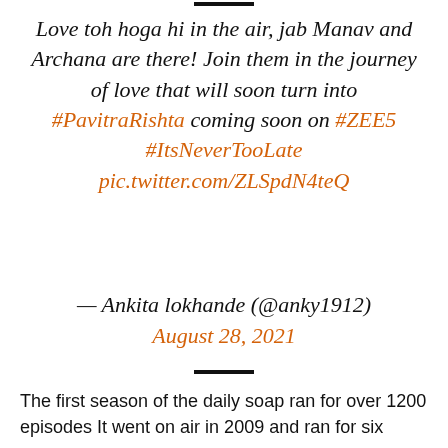Love toh hoga hi in the air, jab Manav and Archana are there! Join them in the journey of love that will soon turn into #PavitraRishta coming soon on #ZEE5 #ItsNeverTooLate pic.twitter.com/ZLSpdN4teQ
— Ankita lokhande (@anky1912) August 28, 2021
The first season of the daily soap ran for over 1200 episodes It went on air in 2009 and ran for six years.